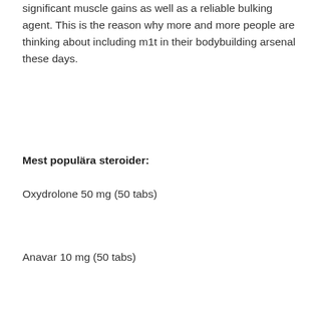significant muscle gains as well as a reliable bulking agent. This is the reason why more and more people are thinking about including m1t in their bodybuilding arsenal these days.
Mest populära steroider:
Oxydrolone 50 mg (50 tabs)
Anavar 10 mg (50 tabs)